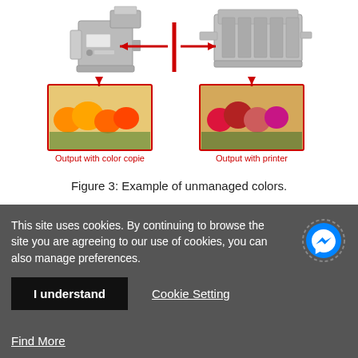[Figure (infographic): Diagram showing color output comparison: a color copier machine and a printer machine connected by a horizontal red arrow with a vertical red bar (indicating incompatibility), with two fruit images below showing 'Output with color copie' and 'Output with printer' labels in red.]
Figure 3: Example of unmanaged colors.
When transforming or mapping two color gamut types (or devices), it is simple; just setup one transformation between the two devices, and we
This site uses cookies. By continuing to browse the site you are agreeing to our use of cookies, you can also manage preferences.
I understand
Cookie Setting
Find More